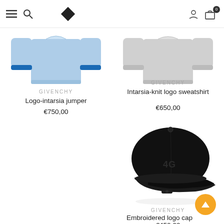[Figure (screenshot): Navigation bar with hamburger menu, search icon, diamond logo, user icon, cart icon with badge showing 0]
[Figure (illustration): Blue and white logo-intarsia jumper product illustration]
GIVENCHY
Logo-intarsia jumper
€750,00
[Figure (illustration): Grey intarsia-knit logo sweatshirt product illustration]
GIVENCHY
Intarsia-knit logo sweatshirt
€650,00
[Figure (photo): Black Givenchy embroidered logo baseball cap on white background]
GIVENCHY
Embroidered logo cap
€450,00